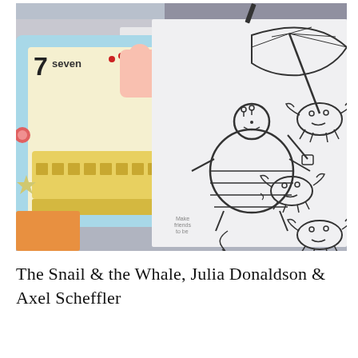[Figure (photo): A photograph showing children's books and coloring/drawing pages spread on a table. On the left is a Peppa Pig activity book open to page 7 'seven' with colorful illustrations. On the right are hand-drawn coloring pages featuring a round character (resembling a snail) with a beach umbrella, and several crab drawings.]
The Snail & the Whale, Julia Donaldson & Axel Scheffler